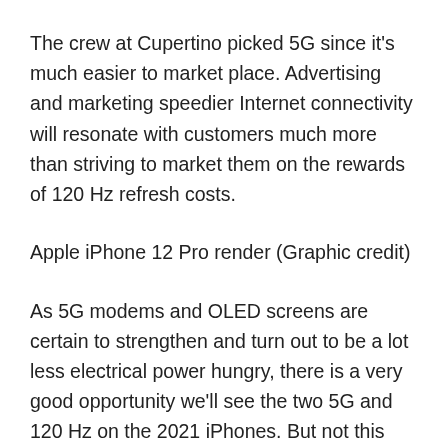The crew at Cupertino picked 5G since it's much easier to market place. Advertising and marketing speedier Internet connectivity will resonate with customers much more than striving to market them on the rewards of 120 Hz refresh costs.
Apple iPhone 12 Pro render (Graphic credit)
As 5G modems and OLED screens are certain to strengthen and turn out to be a lot less electrical power hungry, there is a very good opportunity we'll see the two 5G and 120 Hz on the 2021 iPhones. But not this year.